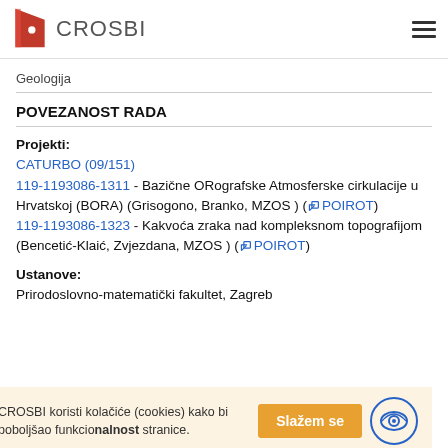CROSBI
Geologija
POVEZANOST RADA
Projekti:
CATURBO (09/151)
119-1193086-1311 - Bazične ORografske Atmosferske cirkulacije u Hrvatskoj (BORA) (Grisogono, Branko, MZOS ) ( POIROT)
119-1193086-1323 - Kakvoća zraka nad kompleksnom topografijom (Bencetić-Klaić, Zvjezdana, MZOS ) ( POIROT)
Ustanove:
Prirodoslovno-matematički fakultet, Zagreb
CROSBI koristi kolačiće (cookies) kako bi poboljšao funkcionalnost stranice.